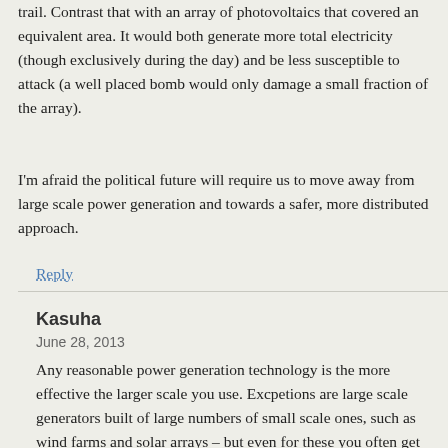trail. Contrast that with an array of photovoltaics that covered an equivalent area. It would both generate more total electricity (though exclusively during the day) and be less susceptible to attack (a well placed bomb would only damage a small fraction of the array).
I'm afraid the political future will require us to move away from large scale power generation and towards a safer, more distributed approach.
Reply
Kasuha
June 28, 2013
Any reasonable power generation technology is the more effective the larger scale you use. Excpetions are large scale generators built of large numbers of small scale ones, such as wind farms and solar arrays – but even for these you often get some quantity bonus. Small distributed sources are usually expensive and inefficient. The only thing that may make small